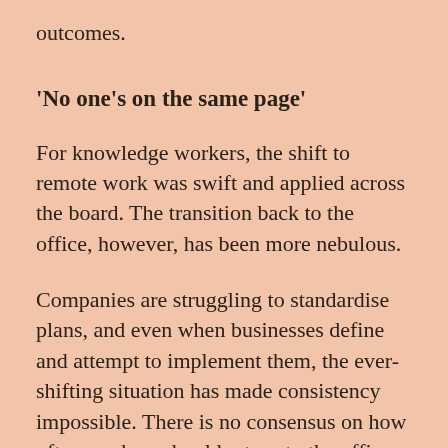outcomes.
‘No one’s on the same page’
For knowledge workers, the shift to remote work was swift and applied across the board. The transition back to the office, however, has been more nebulous.
Companies are struggling to standardise plans, and even when businesses define and attempt to implement them, the ever-shifting situation has made consistency impossible. There is no consensus on how often workers should return to the office, across companies themselves as